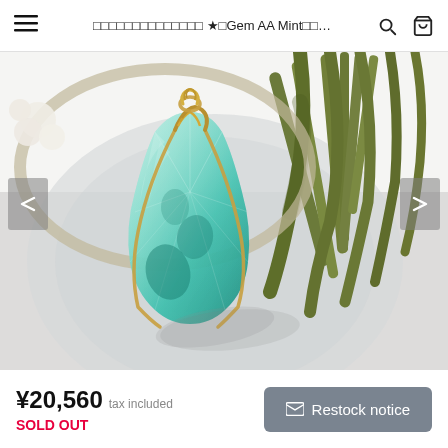☰  □□□□□□□□□□□□□□ ★□Gem AA Mint□□... 🔍 🛒
[Figure (photo): Product photo of a teal/mint green gemstone pendant wrapped in gold wire, placed on a reflective silver surface with green plant stalks in the background. Navigation arrows on left and right sides of the carousel.]
¥20,560  tax included
SOLD OUT
✉ Restock notice